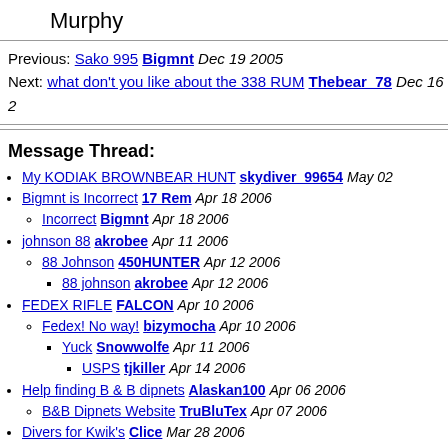Murphy
Previous: Sako 995 Bigmnt Dec 19 2005
Next: what don't you like about the 338 RUM Thebear_78 Dec 16 2...
Message Thread:
My KODIAK BROWNBEAR HUNT skydiver_99654 May 02...
Bigmnt is Incorrect 17 Rem Apr 18 2006
Incorrect Bigmnt Apr 18 2006
johnson 88 akrobee Apr 11 2006
88 Johnson 450HUNTER Apr 12 2006
88 johnson akrobee Apr 12 2006
FEDEX RIFLE FALCON Apr 10 2006
Fedex! No way! bizymocha Apr 10 2006
Yuck Snowwolfe Apr 11 2006
USPS tjkiller Apr 14 2006
Help finding B & B dipnets Alaskan100 Apr 06 2006
B&B Dipnets Website TruBluTex Apr 07 2006
Divers for Kwik's Clice Mar 28 2006
subsistence halibut fishing! ayakulik Mar 13 2006
fourtyonesix BRWNBR Feb 25 2006
Wanted roadking Dec 21 2005...